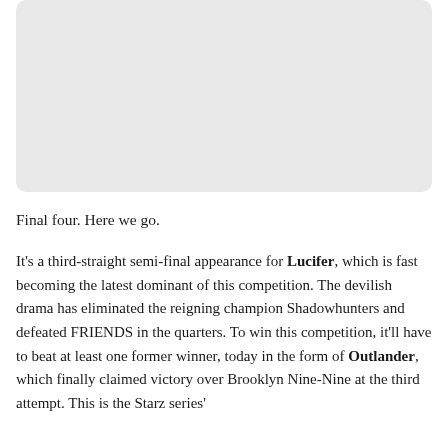[Figure (photo): Large light gray rectangular image placeholder with rounded corners]
Final four. Here we go.
It's a third-straight semi-final appearance for Lucifer, which is fast becoming the latest dominant of this competition. The devilish drama has eliminated the reigning champion Shadowhunters and defeated FRIENDS in the quarters. To win this competition, it'll have to beat at least one former winner, today in the form of Outlander, which finally claimed victory over Brooklyn Nine-Nine at the third attempt. This is the Starz series'